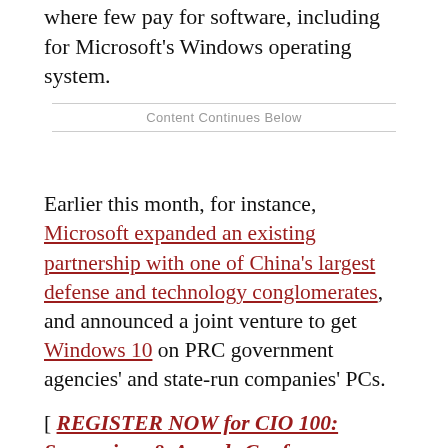where few pay for software, including for Microsoft's Windows operating system.
Content Continues Below
Earlier this month, for instance, Microsoft expanded an existing partnership with one of China's largest defense and technology conglomerates, and announced a joint venture to get Windows 10 on PRC government agencies' and state-run companies' PCs.
[ REGISTER NOW for CIO 100: Symposium & Awards Conference, August 15-17 ]
As have other technology firms with similar